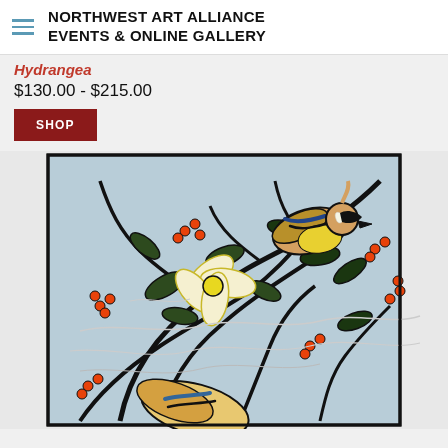NORTHWEST ART ALLIANCE EVENTS & ONLINE GALLERY
Hydrangea
$130.00 - $215.00
SHOP
[Figure (illustration): Colorful linocut or woodblock print artwork showing birds (cedar waxwings) perched among flowering branches with orange berries and large white/yellow flowers on a light blue background, with bold black outlines in a decorative folk-art style.]